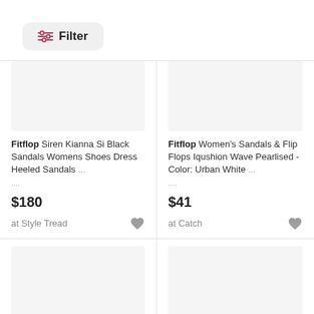[Figure (screenshot): Filter button with slider icon]
[Figure (photo): Product image placeholder for Fitflop Siren Kianna Si Black Sandals]
Fitflop Siren Kianna Si Black Sandals Womens Shoes Dress Heeled Sandals ...
$180
at Style Tread
[Figure (photo): Product image placeholder for Fitflop Women's Sandals & Flip Flops]
Fitflop Women's Sandals & Flip Flops Iqushion Wave Pearlised - Color: Urban White ...
$41
at Catch
[Figure (photo): Product image placeholder bottom left]
[Figure (photo): Product image placeholder bottom right]